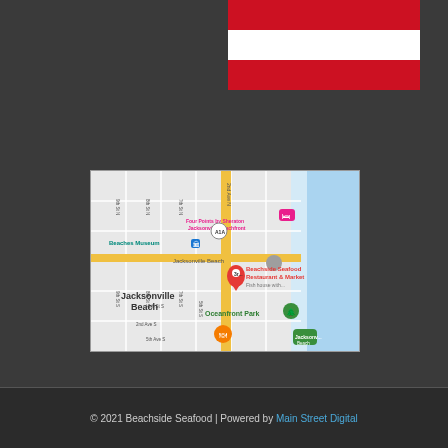[Figure (other): Partial flag graphic — three horizontal stripes: red, white, red — visible in upper right area of page on dark background]
[Figure (map): Google Maps screenshot showing Jacksonville Beach area in Florida. A red location pin marks Beachside Seafood Restaurant & Market. Visible labels include: Beaches Museum, Four Points by Sheraton Jacksonville Beachfront, Jacksonville Beach, Oceanfront Park, A1A highway. Street grid shows numbered streets (2nd Ave N, 2nd Ave S, 5th Ave S, 5th St S, 6th St S, 7th St S, 8th St S, 9th St S) and ocean/beach on the right.]
© 2021 Beachside Seafood | Powered by Main Street Digital